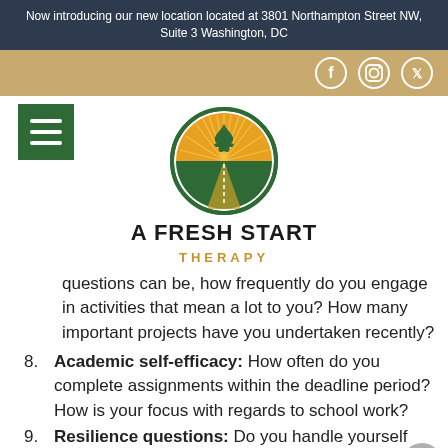Now introducing our new location located at 3801 Northampton Street NW, Suite 3 Washington, DC
[Figure (logo): Social media icons (Facebook, Instagram, Twitter) in circles on tan/gold navigation bar]
[Figure (logo): A Fresh Start Therapy circular logo with green tree, sunrise rays, and road; hamburger menu icon on left]
A FRESH START
THERAPY
questions can be, how frequently do you engage in activities that mean a lot to you? How many important projects have you undertaken recently?
8. Academic self-efficacy: How often do you complete assignments within the deadline period? How is your focus with regards to school work?
9. Resilience questions: Do you handle yourself well when you face obstacles? How do you cope in